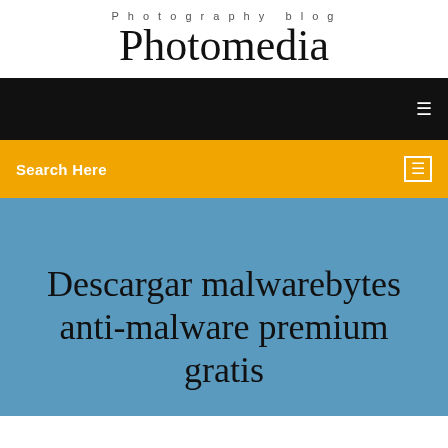Photography blog
Photomedia
[Figure (screenshot): Black navigation bar with white menu icon on right]
Search Here
Descargar malwarebytes anti-malware premium gratis